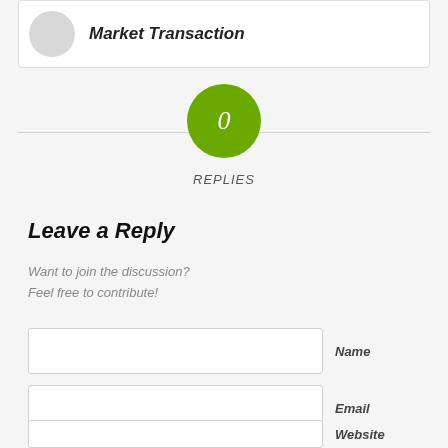Market Transaction
0 REPLIES
Leave a Reply
Want to join the discussion?
Feel free to contribute!
Name
Email
Website